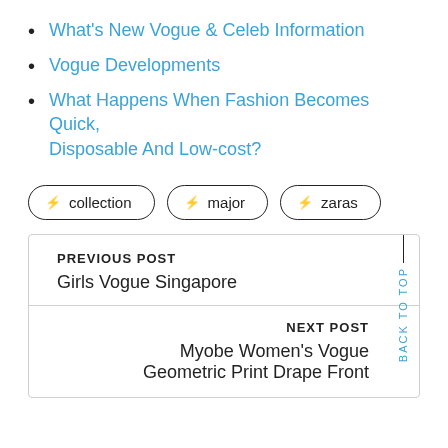What's New Vogue & Celeb Information
Vogue Developments
What Happens When Fashion Becomes Quick, Disposable And Low-cost?
⚡ collection   ⚡ major   ⚡ zaras
PREVIOUS POST
Girls Vogue Singapore
NEXT POST
Myobe Women's Vogue Geometric Print Drape Front